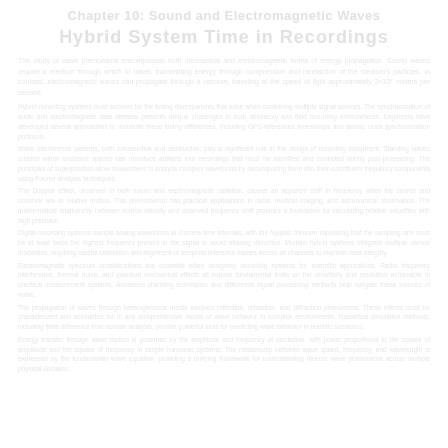Chapter 10: Sound and Electromagnetic Waves
Hybrid System Time in Recordings
The page appears to be a lightly watermarked/faded scientific or educational document page discussing sound and electromagnetic waves, with body text covering wave properties and recording systems. The content is rendered at very low contrast against a white background, making individual words difficult to distinguish clearly.
Body paragraphs discuss topics related to wave phenomena, hybrid system timing, and recording technologies in a scientific educational context.